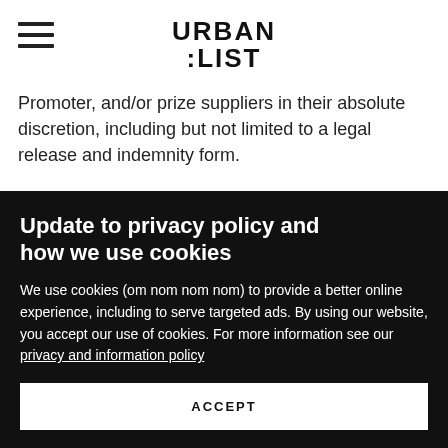URBAN LIST
Promoter, and/or prize suppliers in their absolute discretion, including but not limited to a legal release and indemnity form.
8. Entrants must also provide their email address to the...
Update to privacy policy and how we use cookies
We use cookies (om nom nom nom) to provide a better online experience, including to serve targeted ads. By using our website, you accept our use of cookies. For more information see our privacy and information policy
ACCEPT